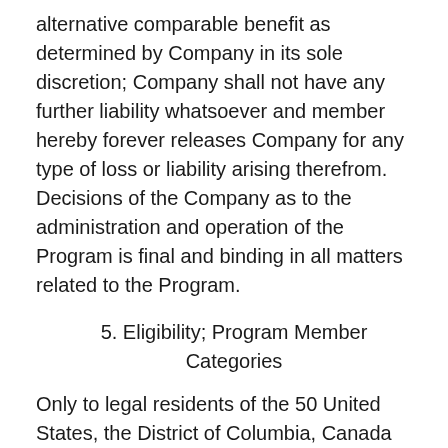alternative comparable benefit as determined by Company in its sole discretion; Company shall not have any further liability whatsoever and member hereby forever releases Company for any type of loss or liability arising therefrom. Decisions of the Company as to the administration and operation of the Program is final and binding in all matters related to the Program.
5. Eligibility; Program Member Categories
Only to legal residents of the 50 United States, the District of Columbia, Canada and Puerto Rico are eligible to be members of the Program. Void outside of the 50 United States, the District of Columbia, Canada and Puerto Rico, and where prohibited, taxed or restricted by law. Employees of the Company, its subsidiaries, their respective advertising and promotion agencies, and each such